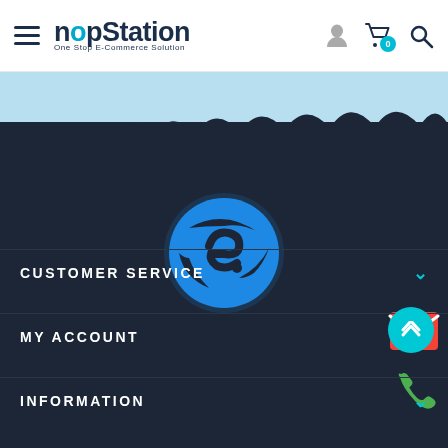[Figure (logo): nopStation logo with hamburger menu icon on the left side of the header navigation bar]
[Figure (illustration): Light blue sky background with dark navy cloud shapes along the bottom edge]
[Figure (logo): nopStation brand icon - a blue circular logo resembling a globe or stylized letter in the center of the dark area]
[Figure (illustration): Gmail red envelope icon on the right side floating action bar]
[Figure (illustration): Green phone icon on the right side floating action bar]
CUSTOMER SERVICE
MY ACCOUNT
INFORMATION